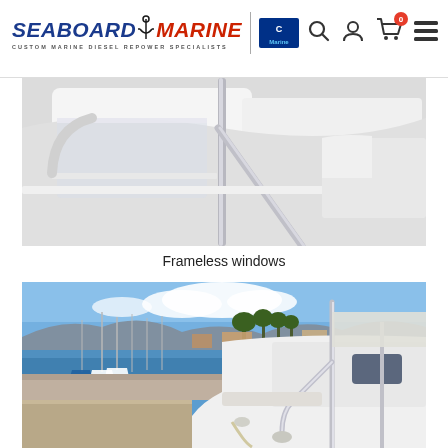[Figure (logo): Seaboard Marine logo with anchor icon and Cummins Marine badge, plus navigation icons (search, user, cart with 0, menu)]
[Figure (photo): Close-up photo of a white boat showing frameless windows and metal railings against a white background]
Frameless windows
[Figure (photo): Photo of a white motor yacht docked at a marina with blue sky, sailboats, palm trees, and buildings visible in the background]